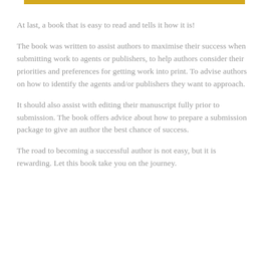At last, a book that is easy to read and tells it how it is!
The book was written to assist authors to maximise their success when submitting work to agents or publishers, to help authors consider their priorities and preferences for getting work into print. To advise authors on how to identify the agents and/or publishers they want to approach.
It should also assist with editing their manuscript fully prior to submission. The book offers advice about how to prepare a submission package to give an author the best chance of success.
The road to becoming a successful author is not easy, but it is rewarding. Let this book take you on the journey.